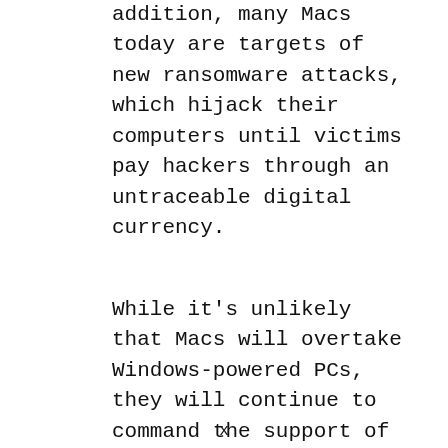addition, many Macs today are targets of new ransomware attacks, which hijack their computers until victims pay hackers through an untraceable digital currency.
While it's unlikely that Macs will overtake Windows-powered PCs, they will continue to command the support of a dedicated userbase. Their lower market share also makes them feel more exclusive, which increases their value in the eyes of their fans.
x